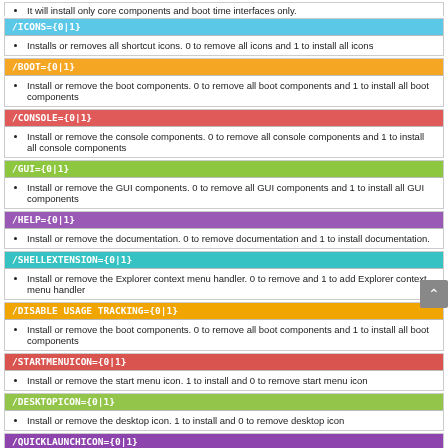It will install only core components and boot time interfaces only.
/ICONS={0|1}
Installs or removes all shortcut icons. 0 to remove all icons and 1 to install all icons
/BOOT={0|1}
Install or remove the boot components. 0 to remove all boot components and 1 to install all boot components
/CONSOLE={0|1}
Install or remove the console components. 0 to remove all console components and 1 to install all console components
/GUI={0|1}
Install or remove the GUI components. 0 to remove all GUI components and 1 to install all GUI components
/HELP={0|1}
Install or remove the documentation. 0 to remove documentation and 1 to install documentation.
/SHELLEXTENSION={0|1}
Install or remove the Explorer context menu handler. 0 to remove and 1 to add Explorer context menu handler
/DISABLE USAGE TRACKING={0|1}
Install or remove the boot components. 0 to remove all boot components and 1 to install all boot components
/STARTMENUICON={0|1}
Install or remove the start menu icon. 1 to install and 0 to remove start menu icon
/DESKTOPICON={0|1}
Install or remove the desktop icon. 1 to install and 0 to remove desktop icon
/QUICKLAUNCHICON={0|1}
Install or remove the quick launch icon. 1 to install and 0 to remove quick launch icon